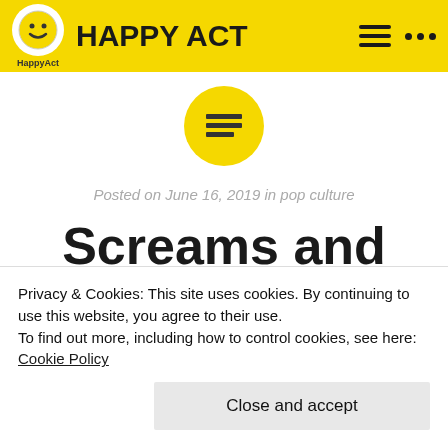HAPPY ACT
[Figure (logo): Yellow circle with smiley face icon and HappyAct text below]
Posted on June 16, 2019 in pop culture
Screams and curtain calls
Privacy & Cookies: This site uses cookies. By continuing to use this website, you agree to their use.
To find out more, including how to control cookies, see here: Cookie Policy
Close and accept